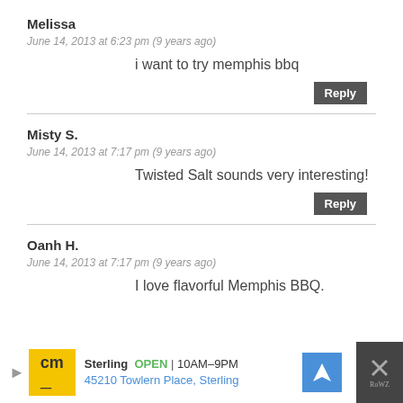Melissa
June 14, 2013 at 6:23 pm (9 years ago)
i want to try memphis bbq
Reply
Misty S.
June 14, 2013 at 7:17 pm (9 years ago)
Twisted Salt sounds very interesting!
Reply
Oanh H.
June 14, 2013 at 7:17 pm (9 years ago)
I love flavorful Memphis BBQ.
[Figure (other): Advertisement banner for cm (CityMall) showing Sterling store, OPEN 10AM-9PM, 45210 Towlern Place, Sterling, with navigation icon and close button]